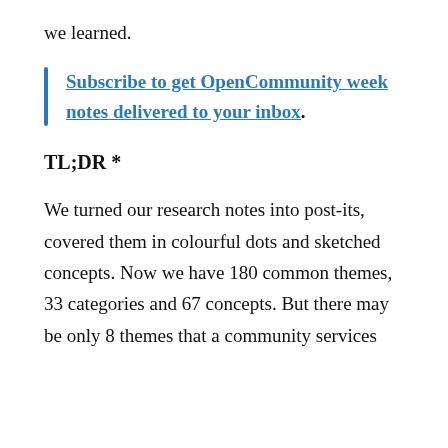we learned.
Subscribe to get OpenCommunity week notes delivered to your inbox.
TL;DR *
We turned our research notes into post-its, covered them in colourful dots and sketched concepts. Now we have 180 common themes, 33 categories and 67 concepts. But there may be only 8 themes that a community services